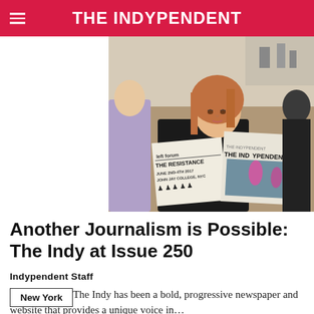THE INDYPENDENT
[Figure (photo): A woman with auburn hair reads a copy of The Indypendent newspaper, showing the front page with 'THE RESISTANCE' and 'left forum' headlines, dated June 2nd-4th 2017, John Jay College NYC. She is seated at what appears to be a bar or cafe.]
Another Journalism is Possible: The Indy at Issue 250
Indypendent Staff
For 250 issues The Indy has been a bold, progressive newspaper and website that provides a unique voice in…
New York